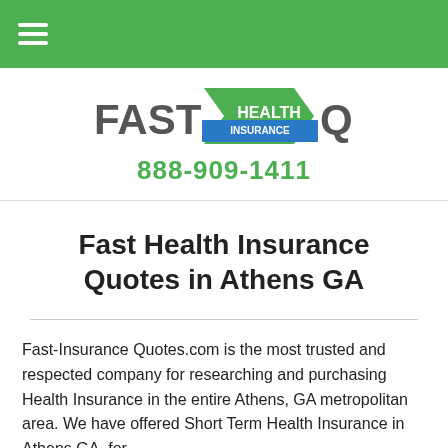≡ (hamburger menu)
[Figure (logo): Fast Health Insurance Quotes logo with green arrow shape and blue banner]
888-909-1411
Fast Health Insurance Quotes in Athens GA
Fast-Insurance Quotes.com is the most trusted and respected company for researching and purchasing Health Insurance in the entire Athens, GA metropolitan area. We have offered Short Term Health Insurance in Athens GA, for